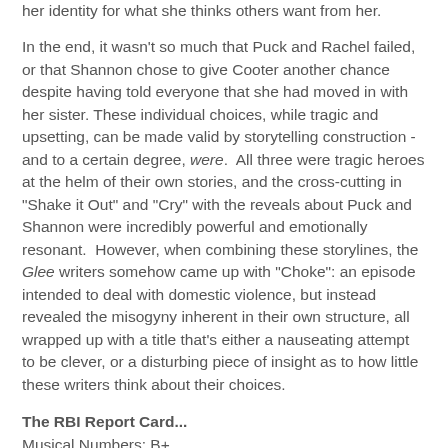her identity for what she thinks others want from her.
In the end, it wasn't so much that Puck and Rachel failed, or that Shannon chose to give Cooter another chance despite having told everyone that she had moved in with her sister. These individual choices, while tragic and upsetting, can be made valid by storytelling construction - and to a certain degree, were. All three were tragic heroes at the helm of their own stories, and the cross-cutting in "Shake it Out" and "Cry" with the reveals about Puck and Shannon were incredibly powerful and emotionally resonant. However, when combining these storylines, the Glee writers somehow came up with "Choke": an episode intended to deal with domestic violence, but instead revealed the misogyny inherent in their own structure, all wrapped up with a title that's either a nauseating attempt to be clever, or a disturbing piece of insight as to how little these writers think about their choices.
The RBI Report Card...
Musical Numbers: B+
Dance Numbers: B+